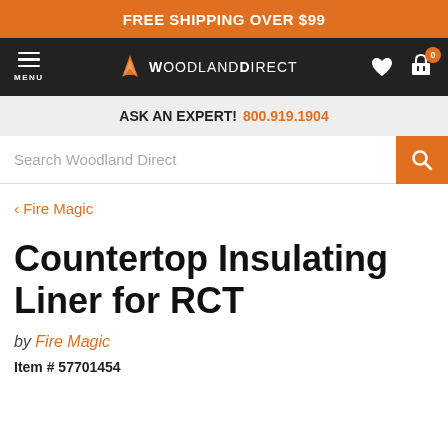FREE SHIPPING OVER $99
MENU | WoodlandDirect | 0
ASK AN EXPERT! 800.919.1904
Search Woodland Direct
< Fire Magic
Countertop Insulating Liner for RCT
by Fire Magic
Item # 57701454